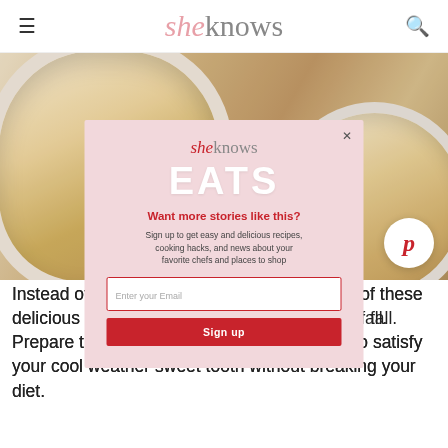sheknows
[Figure (photo): Close-up photo of baked crumble dessert in white ramekins on a gray surface]
[Figure (infographic): SheKnows EATS modal popup with email signup form. Text: 'sheknows EATS - Want more stories like this? Sign up to get easy and delicious recipes, cooking hacks, and news about your favorite chefs and places to shop. Enter your Email. Sign up.']
Instead of packing on the pounds, enjoy one of these delicious low-calorie treats that are perfect for fall. Prepare these fall-inspired healthy desserts to satisfy your cool weather sweet tooth without breaking your diet.